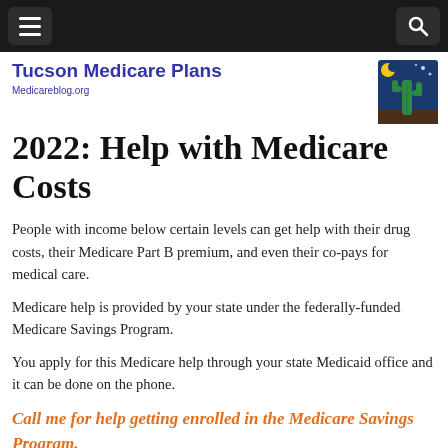≡ [hamburger menu] [search icon]
Tucson Medicare Plans
Medicareblog.org
2022: Help with Medicare Costs
People with income below certain levels can get help with their drug costs, their Medicare Part B premium, and even their co-pays for medical care.
Medicare help is provided by your state under the federally-funded Medicare Savings Program.
You apply for this Medicare help through your state Medicaid office and it can be done on the phone.
Call me for help getting enrolled in the Medicare Savings Program.